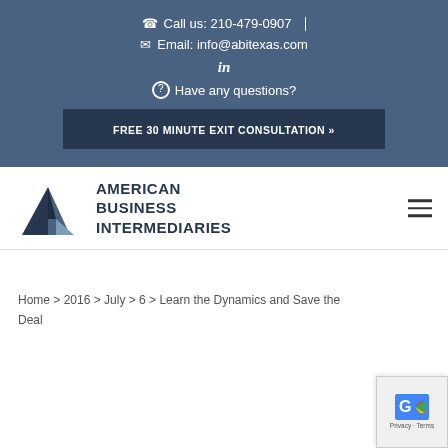Call us: 210-479-0907
Email: info@abitexas.com
in
Have any questions?
FREE 30 MINUTE EXIT CONSULTATION »
[Figure (logo): American Business Intermediaries logo with stylized A triangle shape in dark blue and steel blue]
AMERICAN BUSINESS INTERMEDIARIES
Home > 2016 > July > 6 > Learn the Dynamics and Save the Deal